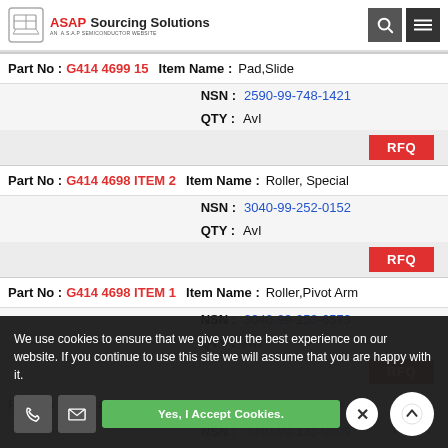ASAP Sourcing Solutions - AN A.S.A.P SEMICONDUCTOR WEBSITE
| Part No | Item Name | NSN | QTY |
| --- | --- | --- | --- |
| G414 4699 15 | Pad,Slide | 2590-99-748-1421 | AvI |
| G414 4698 ITEM 2 | Roller, Special | 3040-99-252-0152 | AvI |
| G414 4698 ITEM 1 | Roller,Pivot Arm | 3040-99-253-6573 | AvI |
| G414 4698 ITEM | Lever,Manual Control | 3040-99-131-9409 |  |
We use cookies to ensure that we give you the best experience on our website. If you continue to use this site we will assume that you are happy with it.